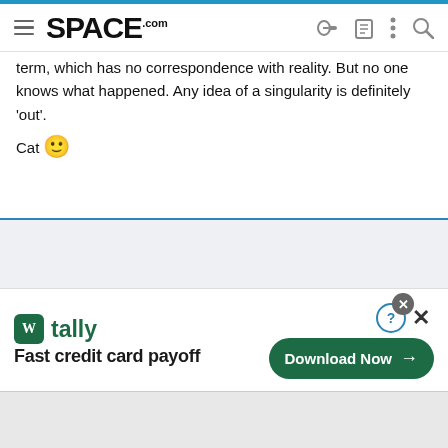SPACE.com
term, which has no correspondence with reality. But no one knows what happened. Any idea of a singularity is definitely 'out'.
Cat 🙂
[Figure (screenshot): Advertisement banner: Tally app - Fast credit card payoff, Download Now button]
[Figure (screenshot): Bottom gray strip area]